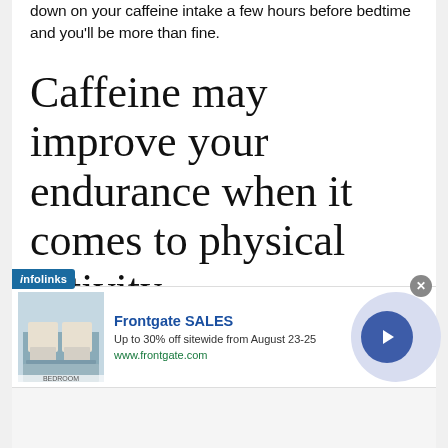down on your caffeine intake a few hours before bedtime and you'll be more than fine.
Caffeine may improve your endurance when it comes to physical activity
Another amazing property of caffeine is improving your endurance when it comes to physical activity,
[Figure (screenshot): Infolinks ad banner overlay with Frontgate SALES advertisement showing bedroom image, text 'Up to 30% off sitewide from August 23-25', URL www.frontgate.com, close button, and arrow navigation button]